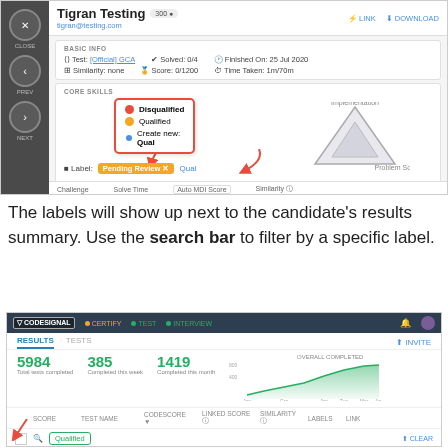[Figure (screenshot): CodeSignal candidate profile screenshot for Tigran Testing showing basic info (Test: [Official] GCA, Solved: 0/4, Finished On: 25 Jul 2020, Similarity: none, Score: 0/1200, Time Taken: 1m/70m), core skills radar chart, a dropdown legend popup with Disqualified (red dot), Qualified (orange dot), Create new: Qual options, and label bar with 'Pending Review' and 'Qual' tags. Bottom tab row shows Challenge, Solve Time, Auto MDI Score, Similarity.]
The labels will show up next to the candidate's results summary. Use the search bar to filter by a specific label.
[Figure (screenshot): CodeSignal results dashboard screenshot showing navigation bar with CERTIFY, TEST, INTERVIEW tabs, Results and Tests sub-tabs with Invite button, stats showing 5984 Total tests completed, 385 Completed this week, 1419 Completed this month, an area chart for Overall Completed, a table header row with Score, Test Name, Codescore, Linked Score, Similarity, Labels, Link columns, and a search bar showing 'Qualified' filter with Clear option and a red arrow pointing to the search bar.]